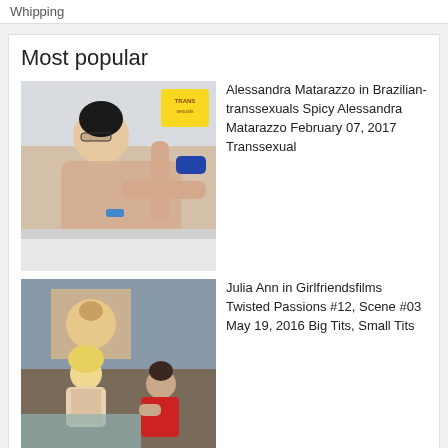Whipping
Most popular
[Figure (photo): Thumbnail photo of Alessandra Matarazzo]
Alessandra Matarazzo in Brazilian-transsexuals Spicy Alessandra Matarazzo February 07, 2017 Transsexual
[Figure (photo): Thumbnail photo of Julia Ann scene]
Julia Ann in Girlfriendsfilms Twisted Passions #12, Scene #03 May 19, 2016 Big Tits, Small Tits